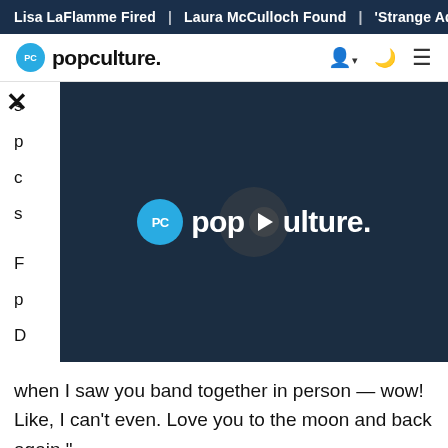Lisa LaFlamme Fired | Laura McCulloch Found | 'Strange Adv
popculture.
[Figure (screenshot): Popculture.com video player overlay with logo showing 'PC popculture.' text and a play button, overlaid on article text. A close (X) button appears top-left.]
when I saw you band together in person — wow! Like, I can't even. Love you to the moon and back again."